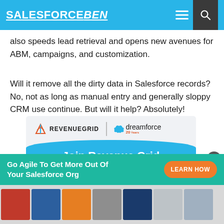SALESFORCEBEN
also speeds lead retrieval and opens new avenues for ABM, campaigns, and customization.
Will it remove all the dirty data in Salesforce records? No, not as long as manual entry and generally sloppy CRM use continue. But will it help? Absolutely!
[Figure (infographic): Revenue Grid and Dreamforce 2022 advertisement banner. Top section shows Revenue Grid logo and Dreamforce 20 Years logo on a light gray background. Bottom section has a blue curved banner with text: Join Revenue Grid at Dreamforce 2022]
Go Agile To Get More Out Of Your Salesforce Org
LEARN HOW
[Figure (screenshot): Bottom strip showing thumbnails of related articles or images]